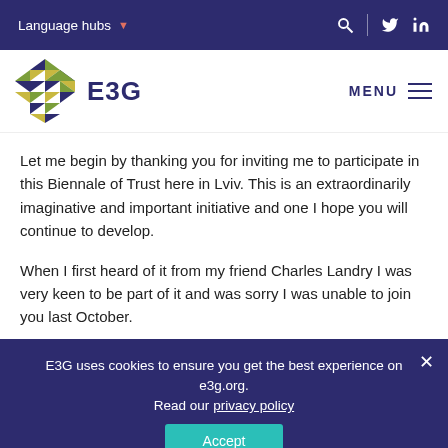Language hubs
[Figure (logo): E3G hexagonal logo with triangular pattern in yellow, blue, and dark purple colors, next to text 'E3G']
Let me begin by thanking you for inviting me to participate in this Biennale of Trust here in Lviv. This is an extraordinarily imaginative and important initiative and one I hope you will continue to develop.
When I first heard of it from my friend Charles Landry I was very keen to be part of it and was sorry I was unable to join you last October.
E3G uses cookies to ensure you get the best experience on e3g.org. Read our privacy policy
Accept